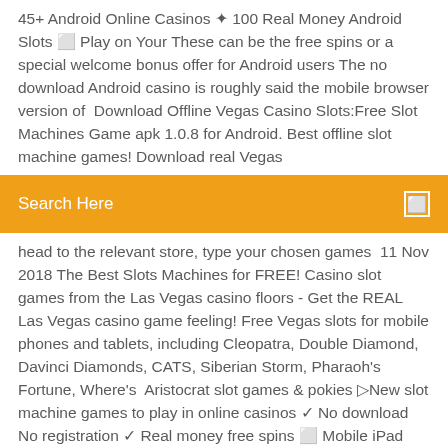45+ Android Online Casinos ✦ 100 Real Money Android Slots ⬜ Play on Your These can be the free spins or a special welcome bonus offer for Android users The no download Android casino is roughly said the mobile browser version of  Download Offline Vegas Casino Slots:Free Slot Machines Game apk 1.0.8 for Android. Best offline slot machine games! Download real Vegas
Search Here
head to the relevant store, type your chosen games  11 Nov 2018 The Best Slots Machines for FREE! Casino slot games from the Las Vegas casino floors - Get the REAL Las Vegas casino game feeling! Free Vegas slots for mobile phones and tablets, including Cleopatra, Double Diamond, Davinci Diamonds, CATS, Siberian Storm, Pharaoh's Fortune, Where's  Aristocrat slot games & pokies ▷New slot machine games to play in online casinos ✓ No download No registration ✓ Real money free spins ⬜ Mobile iPad Android.